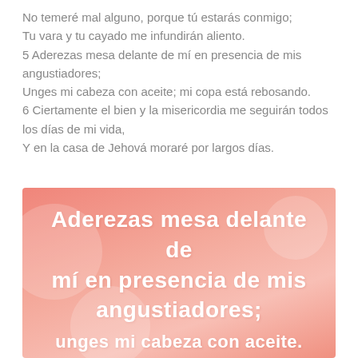No temeré mal alguno, porque tú estarás conmigo;
Tu vara y tu cayado me infundirán aliento.
5 Aderezas mesa delante de mí en presencia de mis angustiadores;
Unges mi cabeza con aceite; mi copa está rebosando.
6 Ciertamente el bien y la misericordia me seguirán todos los días de mi vida,
Y en la casa de Jehová moraré por largos días.
[Figure (illustration): Salmon/coral colored decorative background with white bold handwritten-style text reading: 'Aderezas mesa delante de mí en presencia de mis angustiadores; unges mi cabeza con aceite.' Partially visible at bottom.]